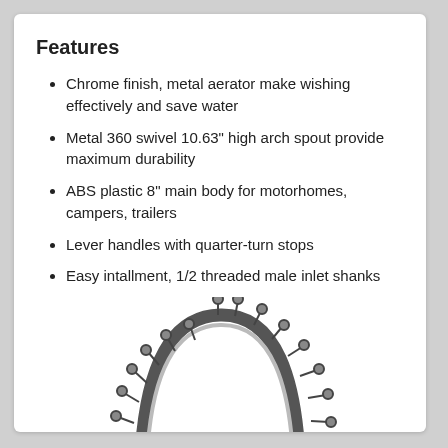Features
Chrome finish, metal aerator make wishing effectively and save water
Metal 360 swivel 10.63" high arch spout provide maximum durability
ABS plastic 8" main body for motorhomes, campers, trailers
Lever handles with quarter-turn stops
Easy intallment, 1/2 threaded male inlet shanks
[Figure (illustration): Illustration of a chrome high-arch faucet spout with decorative spines/knobs along the arc, shown from the front, partially cropped at bottom of page]